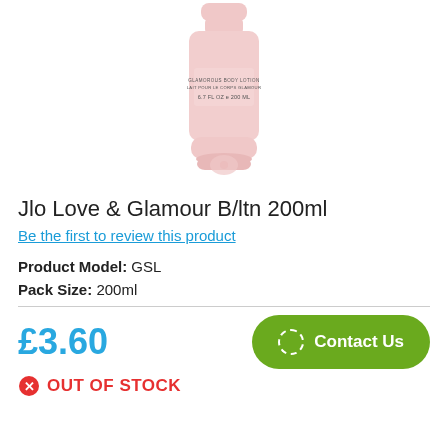[Figure (photo): Pink body lotion tube bottle with text 'GLAMOROUS BODY LOTION / LAIT POUR LE CORPS GLAMOUR / 6.7 FL OZ e 200 ML' on a white background]
Jlo Love & Glamour B/ltn 200ml
Be the first to review this product
Product Model: GSL
Pack Size: 200ml
£3.60
Contact Us
OUT OF STOCK